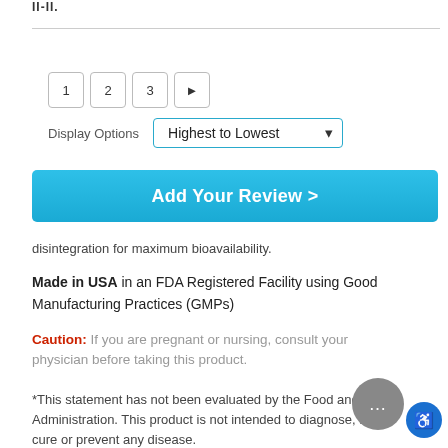disintegration for maximum bioavailability.
Made in USA in an FDA Registered Facility using Good Manufacturing Practices (GMPs)
Caution: If you are pregnant or nursing, consult your physician before taking this product.
*This statement has not been evaluated by the Food and Drug Administration. This product is not intended to diagnose, treat, cure or prevent any disease.